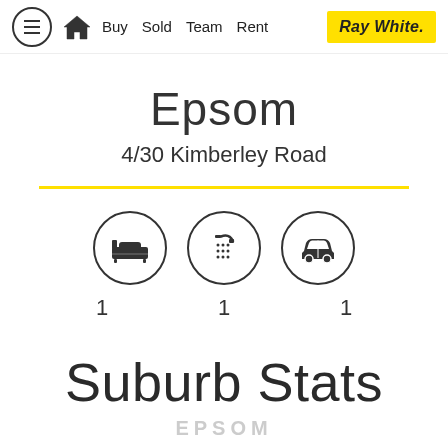Buy  Sold  Team  Rent  Ray White.
Epsom
4/30 Kimberley Road
[Figure (infographic): Three circular icons representing bedroom (bed icon), bathroom (shower icon), and parking (car icon), each with a count of 1 below them.]
Suburb Stats
EPSOM